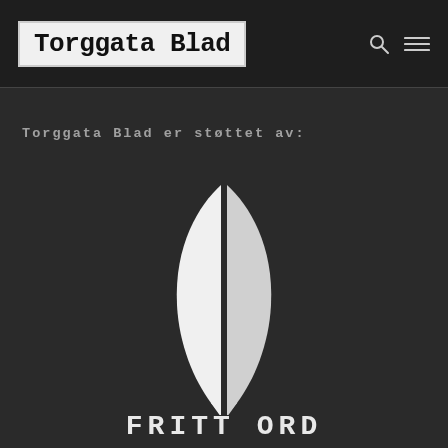Torggata Blad
Torggata Blad er støttet av:
[Figure (logo): Fritt Ord foundation logo — two white leaf/shield shapes with a vertical split, forming a symmetrical emblem on dark background, with 'FRITT ORD' text below]
FRITT ORD